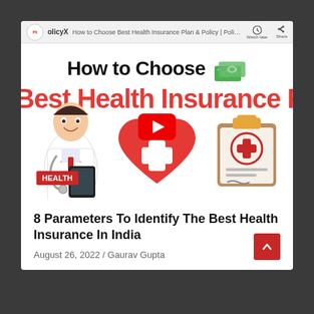[Figure (screenshot): YouTube video thumbnail for PolicyX video titled 'How to Choose Best Health Insurance Plan & Policy | PolicyX'. Shows doctor illustration, red heart with cross, clipboard with medical icon. Title text: 'How to Choose Best Health Insurance Plan & Policy'. HEALTH badge in bottom left.]
8 Parameters To Identify The Best Health Insurance In India
August 26, 2022 / Gaurav Gupta